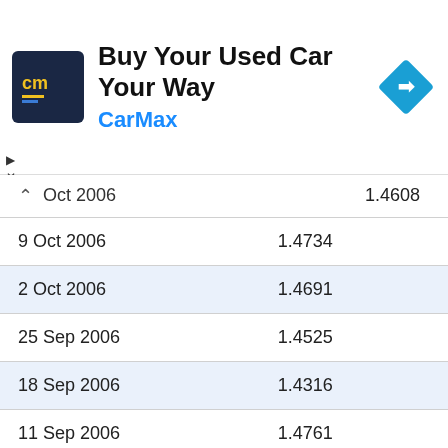[Figure (other): CarMax advertisement banner with logo, tagline 'Buy Your Used Car Your Way', brand name 'CarMax', and a blue direction arrow icon]
| Date | Value |
| --- | --- |
| Oct 2006 | 1.4608 |
| 9 Oct 2006 | 1.4734 |
| 2 Oct 2006 | 1.4691 |
| 25 Sep 2006 | 1.4525 |
| 18 Sep 2006 | 1.4316 |
| 11 Sep 2006 | 1.4761 |
| 4 Sep 2006 | 1.4981 |
| 28 Aug 2006 | 1.4857 |
| 21 Aug 2006 | 1.4899 |
| 14 Aug 2006 | 1.4933 |